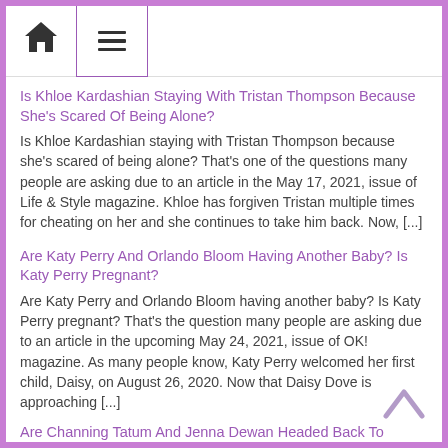Navigation bar with home and menu icons
Is Khloe Kardashian Staying With Tristan Thompson Because She's Scared Of Being Alone?
Is Khloe Kardashian staying with Tristan Thompson because she's scared of being alone? That's one of the questions many people are asking due to an article in the May 17, 2021, issue of Life & Style magazine. Khloe has forgiven Tristan multiple times for cheating on her and she continues to take him back. Now, [...]
Are Katy Perry And Orlando Bloom Having Another Baby? Is Katy Perry Pregnant?
Are Katy Perry and Orlando Bloom having another baby? Is Katy Perry pregnant? That's the question many people are asking due to an article in the upcoming May 24, 2021, issue of OK! magazine. As many people know, Katy Perry welcomed her first child, Daisy, on August 26, 2020. Now that Daisy Dove is approaching [...]
Are Channing Tatum And Jenna Dewan Headed Back To